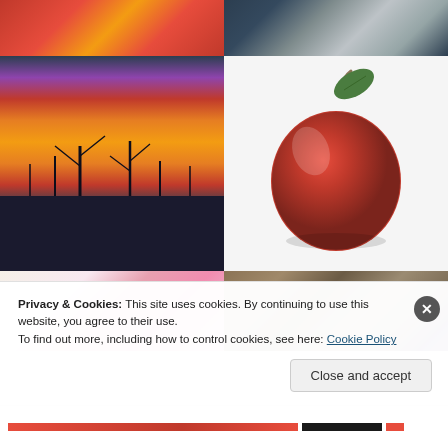[Figure (photo): Red and orange abstract texture, close-up of red objects]
[Figure (photo): Close-up portrait of a man with grey hair]
[Figure (photo): Sunset sky with pink and orange clouds, bare trees silhouetted on dark hillside]
[Figure (photo): Red apple with green leaf on white background]
[Figure (photo): Pink flowers arrangement on light background]
[Figure (photo): Curly-haired dog with colorful bokeh background]
Privacy & Cookies: This site uses cookies. By continuing to use this website, you agree to their use.
To find out more, including how to control cookies, see here: Cookie Policy
Close and accept